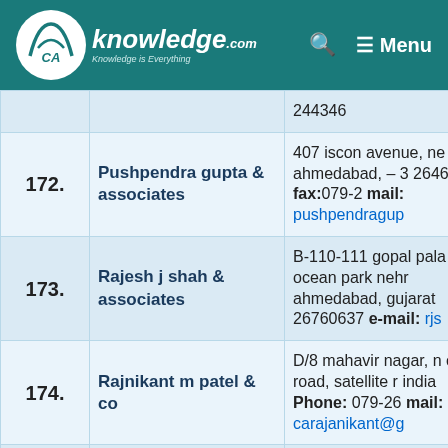[Figure (logo): CAknowledge.com logo with teal header bar, search icon, and Menu button]
| No. | Name | Address |
| --- | --- | --- |
|  |  | 244346 |
| 172. | Pushpendra gupta & associates | 407 iscon avenue, ne road, ahmedabad, – 3 26461011, fax:079-2 mail: pushpendragup |
| 173. | Rajesh j shah & associates | B-110-111 gopal pala opp ocean park nehr ahmedabad, gujarat 26760637 e-mail: rjs |
| 174. | Rajnikant m patel & co | D/8 mahavir nagar, n cross road, satellite r india Phone: 079-26 mail: carajanikant@g |
| 175. | Raju shah patel & kotadia | B/405, premium hous station,, off.ashram r |